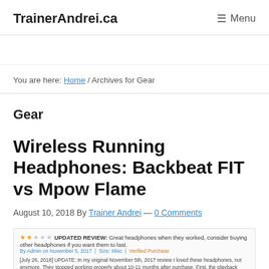TrainerAndrei.ca   ☰ Menu
You are here: Home / Archives for Gear
Gear
Wireless Running Headphones: Backbeat FIT vs Mpow Flame
August 10, 2018 By Trainer Andrei — 0 Comments
★★☆☆☆ UPDATED REVIEW: Great headphones when they worked, consider buying other headphones if you want them to last. By Admin on November 5, 2017 | Size: Misc | Verified Purchase [July 26, 2018] UPDATE: In my original November 5th, 2017 review I loved these headphones, not anymore. They stopped working properly about 10-11 months after purchase. First, the playback button got stuck and you could not use it to play or pause your audio. This was an inconvenience that I could deal with because I could control my audio via phone. Second, eventually, that sticky play button would randomly pause and play audio. And finally, the headphones just died. They no longer turn on.